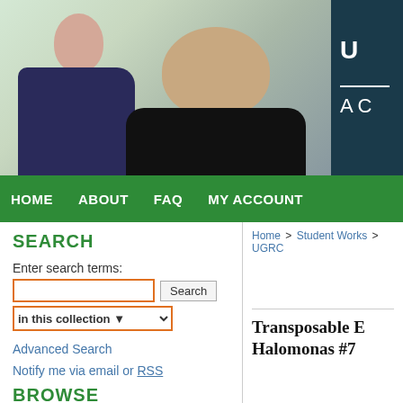[Figure (photo): Two students working in a laboratory setting. A woman on the left looking down at equipment, and a man on the right looking at camera. Dark teal overlay panel on the right with university initials 'U' and 'A C' with a white dividing line.]
HOME   ABOUT   FAQ   MY ACCOUNT
SEARCH
Enter search terms:
in this collection
Advanced Search
Notify me via email or RSS
BROWSE
Home > Student Works > UGRC
Transposable E... Halomonas #7